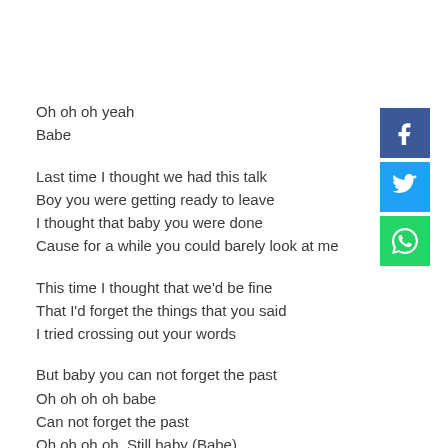Oh oh oh yeah
Babe
Last time I thought we had this talk
Boy you were getting ready to leave
I thought that baby you were done
Cause for a while you could barely look at me
This time I thought that we'd be fine
That I'd forget the things that you said
I tried crossing out your words
But baby you can not forget the past
Oh oh oh oh babe
Can not forget the past
Oh oh oh oh, Still baby (Babe)
[Figure (other): Social share buttons: Facebook (blue), Twitter (light blue), WhatsApp (green)]